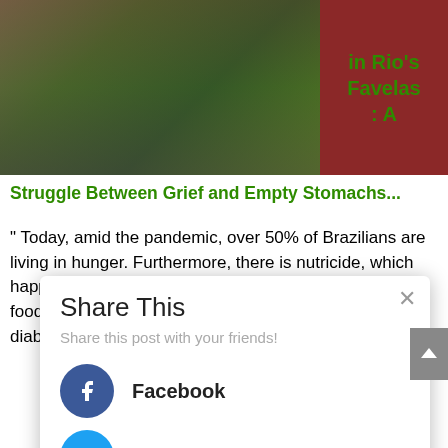[Figure (photo): Photo of a person in a favela setting with green foliage and rocky/urban background]
in Rio's Favelas : A Struggle Between Grief and Empty Stomachs...
" Today, amid the pandemic, over 50% of Brazilians are living in hunger. Furthermore, there is nutricide, which happens “when people are forced to buy processed foods, which in the long run causes problems such as diabetes and
Share This
Share this post with your friends!
Facebook
Twitter